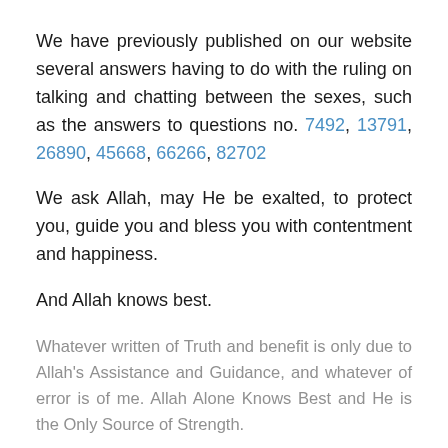We have previously published on our website several answers having to do with the ruling on talking and chatting between the sexes, such as the answers to questions no. 7492, 13791, 26890, 45668, 66266, 82702
We ask Allah, may He be exalted, to protect you, guide you and bless you with contentment and happiness.
And Allah knows best.
Whatever written of Truth and benefit is only due to Allah's Assistance and Guidance, and whatever of error is of me. Allah Alone Knows Best and He is the Only Source of Strength.